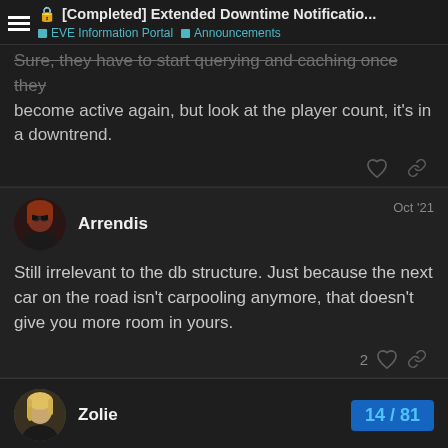[Completed] Extended Downtime Notificatio... | EVE Information Portal | Announcements
Sure, they have to start querying and caching once they become active again, but look at the player count, it's in a downtrend.
Arrendis  Oct '21
Still irrelevant to the db structure. Just because the next car on the road isn't carpooling anymore, that doesn't give you more room in yours.
2
Zolie  14 / 81